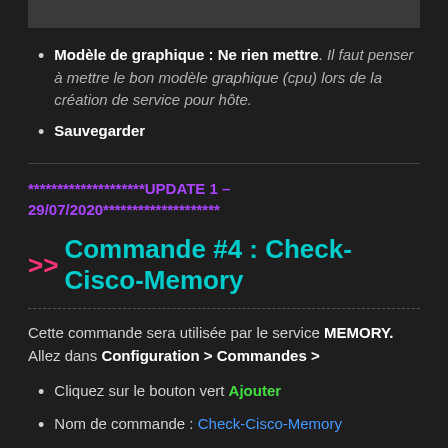[Figure (other): Gray rectangle placeholder at top of page]
Modèle de graphique : Ne rien mettre. Il faut penser à mettre le bon modèle graphique (cpu) lors de la création de service pour hôte.
Sauvegarder
********************UPDATE 1 – 29/07/2020********************
>> Commande #4 : Check-Cisco-Memory
Cette commande sera utilisée par le service MEMORY. Allez dans Configuration > Commandes >
Cliquez sur le bouton vert Ajouter
Nom de commande : Check-Cisco-Memory
Ligne de commande :